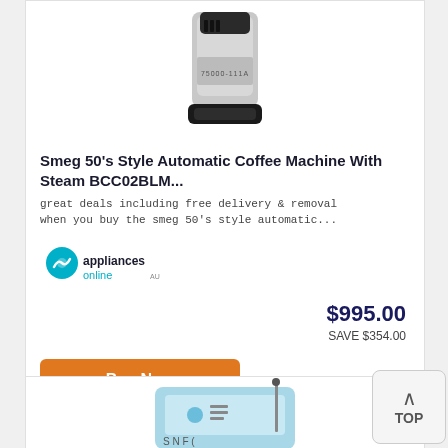[Figure (photo): Smeg 50s Style Automatic Coffee Machine product photo, silver and black appliance]
Smeg 50's Style Automatic Coffee Machine With Steam BCC02BLM...
great deals including free delivery & removal when you buy the smeg 50's style automatic...
[Figure (logo): appliancesonline logo with teal circular swirl icon and text]
$995.00
SAVE $354.00
Buy Now
[Figure (photo): Partially visible second product image at bottom, appears to be a blue kitchen appliance]
TOP